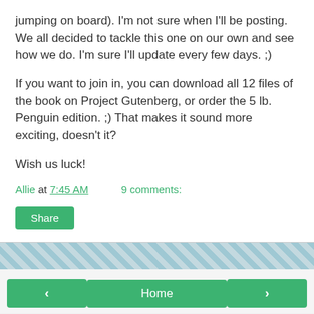jumping on board). I'm not sure when I'll be posting. We all decided to tackle this one on our own and see how we do. I'm sure I'll update every few days. ;)
If you want to join in, you can download all 12 files of the book on Project Gutenberg, or order the 5 lb. Penguin edition. ;) That makes it sound more exciting, doesn't it?
Wish us luck!
Allie at 7:45 AM    9 comments:
Share
Home
View web version
About Me
Allie